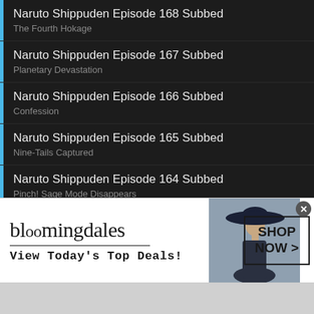Naruto Shippuden Episode 168 Subbed
The Fourth Hokage
Naruto Shippuden Episode 167 Subbed
Planetary Devastation
Naruto Shippuden Episode 166 Subbed
Confession
Naruto Shippuden Episode 165 Subbed
Nine-Tails Captured
Naruto Shippuden Episode 164 Subbed
Pinch! Sage Mode Disappears
Naruto Shippuden Episode 163 Subbed
[Figure (screenshot): Bloomingdale's advertisement banner with logo, tagline 'View Today's Top Deals!', woman in navy hat, and 'SHOP NOW >' button]